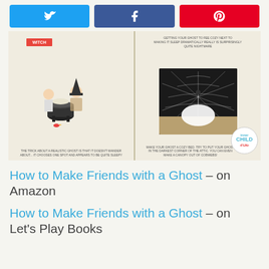[Figure (infographic): Social share buttons: Twitter (blue), Facebook (dark blue), Pinterest (red)]
[Figure (photo): Open children's book showing two illustrated spreads: left page shows a witch with a cauldron and a child, right page shows a spider web with a ghost egg on sandy ground. Inner Child Fun watermark badge visible bottom right.]
How to Make Friends with a Ghost – on Amazon
How to Make Friends with a Ghost – on Let's Play Books